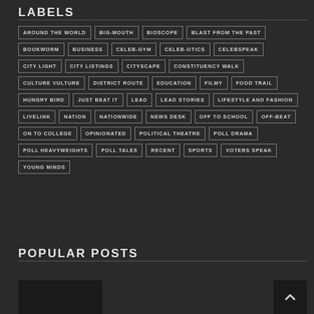LABELS
AROUND THE WORLD
BIG-MOUTH
BIOSCOPE
BLAST FROM THE PAST
BOOKWORM
BUSINESS
CELEB-GYM
CELEB-OTICS
CELEBSPEAK
CITY LIGHT
CITY LISTINGS
CITYSCAPE
CONSTITUENCY WALK
CULTURE VULTURE
DISTRICT ROUTE
EDUCATION
FILMY
FOOD TRAIL
HUNGRY BIRD
JUST BEAT IT
LEAD
LEAD STORIES
LIFESTYLE AND FASHION
LIVELINK
NATION
NATIONWIDE
NEWS DESK
OFF TO SCHOOL
OFF-BEAT
ON TO COLLEGE
OPINIONATED
POLITICAL THEATRE
POLL DRAMA
POLL HEAVYWEIGHTS
POLL TALES
RECENT
SPORTS
VOTERS SPEAK
YOUNG MINDS
POPULAR POSTS